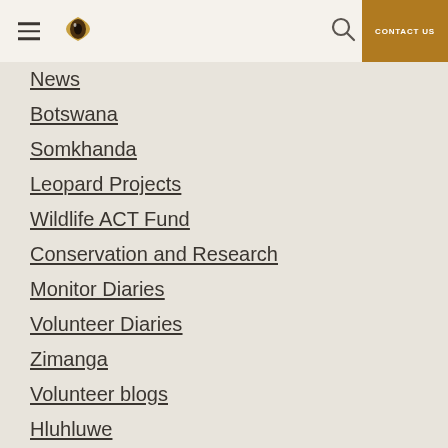Navigation header with hamburger menu, leopard eye logo, search icon, and CONTACT US button
News
Botswana
Somkhanda
Leopard Projects
Wildlife ACT Fund
Conservation and Research
Monitor Diaries
Volunteer Diaries
Zimanga
Volunteer blogs
Hluhluwe
Wild Dog Diaries
iMfolozi